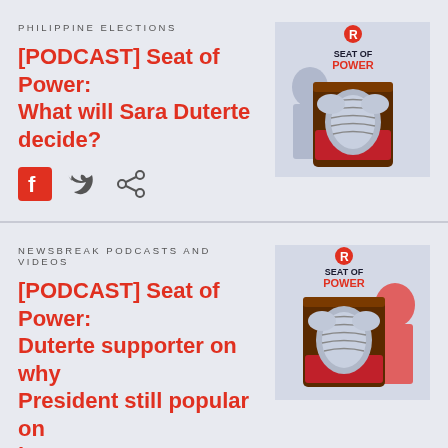PHILIPPINE ELECTIONS
[PODCAST] Seat of Power: What will Sara Duterte decide?
[Figure (illustration): Seat of Power podcast cover art showing a knight's armor seated on a red throne with a figure in the background. Rappler logo at top. Text: SEAT OF POWER]
NEWSBREAK PODCASTS AND VIDEOS
[PODCAST] Seat of Power: Duterte supporter on why President still popular on last year
[Figure (illustration): Seat of Power podcast cover art showing a knight's armor seated on a red throne with a red-tinted figure in the background. Rappler logo at top. Text: SEAT OF POWER]